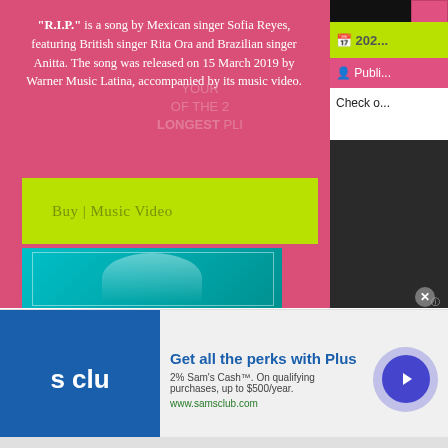"R.I.P." is a song by Mexican singer Sofia Reyes, featuring British singer Rita Ora and Brazilian singer Anitta. The song was released on 15 March 2019 by Warner Music Latina, accompanied by its music video.
Buy | Music Video
[Figure (photo): Teal/cyan toned photo of a blonde woman with hands raised near her head, appearing to be a music artist, with a rectangular border overlay]
2022
Publi...
Check o...
[Figure (photo): Dark sidebar image on the right side]
[Figure (logo): Sam's Club logo — blue square with 's clu' text]
Get all the perks with Plus
2% Sam's Cash™. On qualifying purchases, up to $500/year.
www.samsclub.com